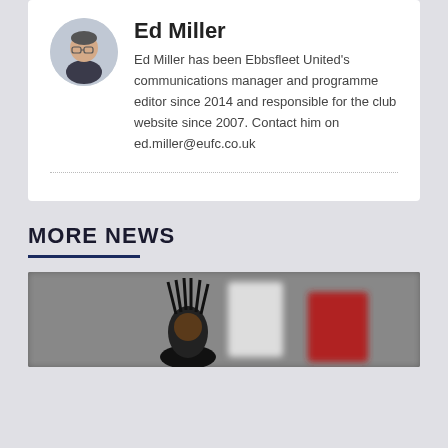[Figure (photo): Circular profile photo of Ed Miller, a man wearing glasses]
Ed Miller
Ed Miller has been Ebbsfleet United's communications manager and programme editor since 2014 and responsible for the club website since 2007. Contact him on ed.miller@eufc.co.uk
MORE NEWS
[Figure (photo): Blurred photo of a person with dreadlocks and crowd in background]